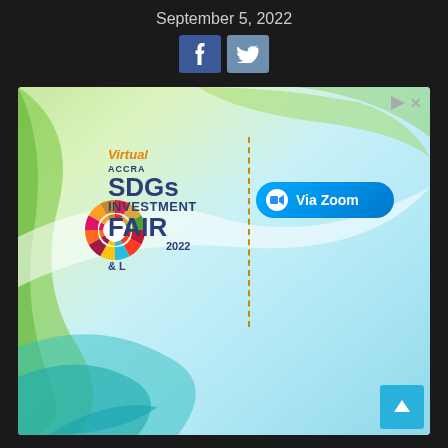September 5, 2022
[Figure (screenshot): Virtual Accra SDGs Investment Fair 2022 advertisement banner with colorful wave design, SDG color wheel logo, 'Via Zoom' button, and scroll-to-top button]
Virtual ACCRA SDGs INVESTMENT FAIR 2022 & L Via Zoom